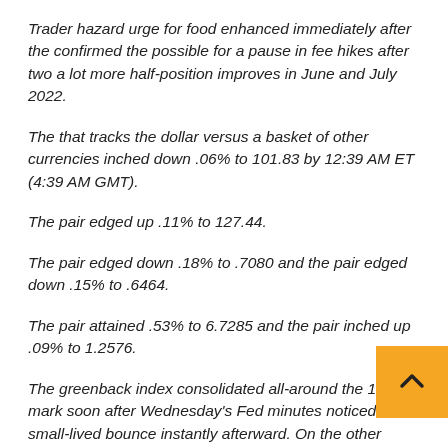Trader hazard urge for food enhanced immediately after the confirmed the possible for a pause in fee hikes after two a lot more half-position improves in June and July 2022.
The that tracks the dollar versus a basket of other currencies inched down .06% to 101.83 by 12:39 AM ET (4:39 AM GMT).
The pair edged up .11% to 127.44.
The pair edged down .18% to .7080 and the pair edged down .15% to .6464.
The pair attained .53% to 6.7285 and the pair inched up .09% to 1.2576.
The greenback index consolidated all-around the 102.03 mark soon after Wednesday's Fed minutes noticed a small-lived bounce instantly afterward. On the other hand, the bounce died down as the Asian session opened, with some buyers indicating that there had been number of